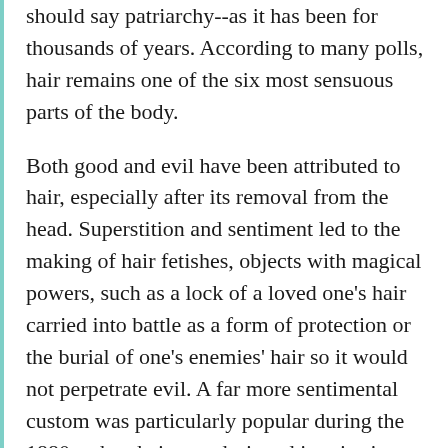should say patriarchy--as it has been for thousands of years. According to many polls, hair remains one of the six most sensuous parts of the body.
Both good and evil have been attributed to hair, especially after its removal from the head. Superstition and sentiment led to the making of hair fetishes, objects with magical powers, such as a lock of a loved one's hair carried into battle as a form of protection or the burial of one's enemies' hair so it would not perpetrate evil. A far more sentimental custom was particularly popular during the 1880s when hair was designed into intricate jewelry for loved ones, or made from the hair of a deceased person as a memento of mourning. Besides taking the form of jewelry, shadowbox wall ornaments and glass-domed flower arrangements were made from the hair of